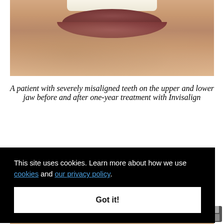[Figure (photo): Close-up photo of a patient's mouth showing teeth and lips, before Invisalign treatment — upper portion showing misaligned teeth and lips against skin background]
A patient with severely misaligned teeth on the upper and lower jaw before and after one-year treatment with Invisalign
[Figure (photo): Close-up photo of a patient's mouth showing teeth and lips, after Invisalign treatment — lower portion showing improved alignment]
This site uses cookies. Learn more about how we use cookies and our privacy policy.
Got it!